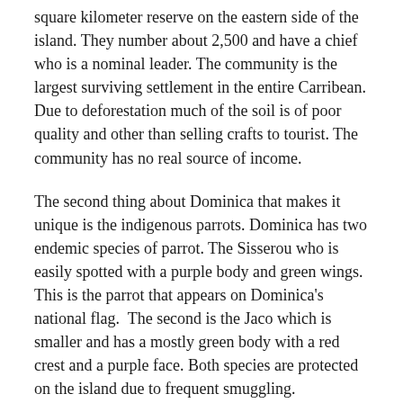square kilometer reserve on the eastern side of the island. They number about 2,500 and have a chief who is a nominal leader. The community is the largest surviving settlement in the entire Carribean. Due to deforestation much of the soil is of poor quality and other than selling crafts to tourist. The community has no real source of income.
The second thing about Dominica that makes it unique is the indigenous parrots. Dominica has two endemic species of parrot. The Sisserou who is easily spotted with a purple body and green wings. This is the parrot that appears on Dominica's national flag.  The second is the Jaco which is smaller and has a mostly green body with a red crest and a purple face. Both species are protected on the island due to frequent smuggling.